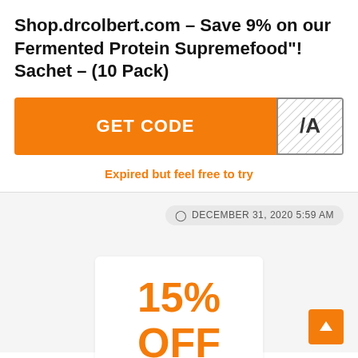Shop.drcolbert.com – Save 9% on our Fermented Protein Supremefood"! Sachet – (10 Pack)
GET CODE /A
Expired but feel free to try
DECEMBER 31, 2020 5:59 AM
15% OFF